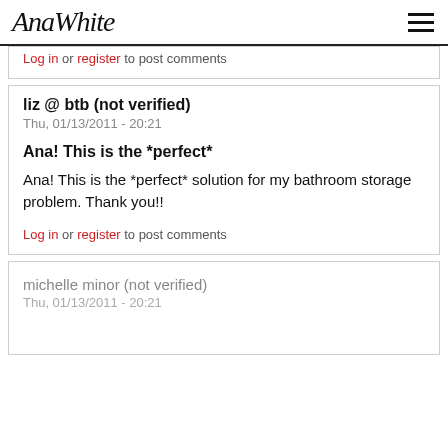AnaWhite
Log in or register to post comments
liz @ btb (not verified)
Thu, 01/13/2011 - 20:21

Ana! This is the *perfect*

Ana! This is the *perfect* solution for my bathroom storage problem. Thank you!!

Log in or register to post comments
michelle minor (not verified)
Thu, 01/13/2011 - 20:21